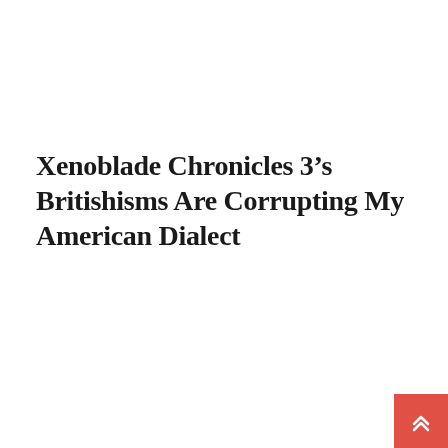Xenoblade Chronicles 3’s Britishisms Are Corrupting My American Dialect